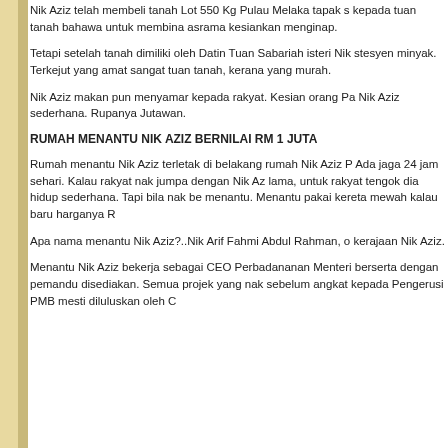Nik Aziz telah membeli tanah Lot 550 Kg Pulau Melaka tapak s... kepada tuan tanah bahawa untuk membina asrama kesiankan menginap.
Tetapi setelah tanah dimiliki oleh Datin Tuan Sabariah isteri Nik... stesyen minyak. Terkejut yang amat sangat tuan tanah, kerana yang murah.
Nik Aziz makan pun menyamar kepada rakyat. Kesian orang Pa... Nik Aziz sederhana. Rupanya Jutawan.
RUMAH MENANTU NIK AZIZ BERNILAI RM 1 JUTA
Rumah menantu Nik Aziz terletak di belakang rumah Nik Aziz P... Ada jaga 24 jam sehari. Kalau rakyat nak jumpa dengan Nik Az... lama, untuk rakyat tengok dia hidup sederhana. Tapi bila nak be... menantu. Menantu pakai kereta mewah kalau baru harganya R...
Apa nama menantu Nik Aziz?..Nik Arif Fahmi Abdul Rahman, o... kerajaan Nik Aziz.
Menantu Nik Aziz bekerja sebagai CEO Perbadananan Menteri... berserta dengan pemandu disediakan. Semua projek yang nak... sebelum angkat kepada Pengerusi PMB mesti diluluskan oleh C...